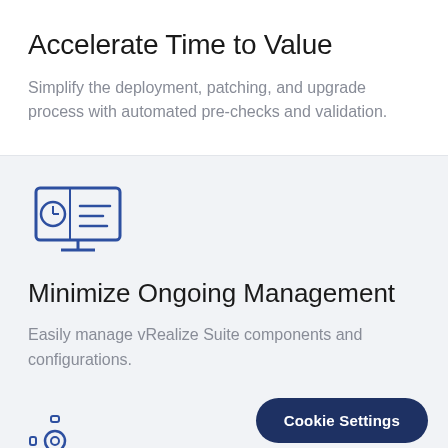Accelerate Time to Value
Simplify the deployment, patching, and upgrade process with automated pre-checks and validation.
[Figure (illustration): Line icon of a computer monitor with a clock/time symbol and lines representing content on screen, in blue outline style]
Minimize Ongoing Management
Easily manage vRealize Suite components and configurations.
[Figure (illustration): Partial view of a gear/settings icon in blue outline style at bottom left]
Cookie Settings